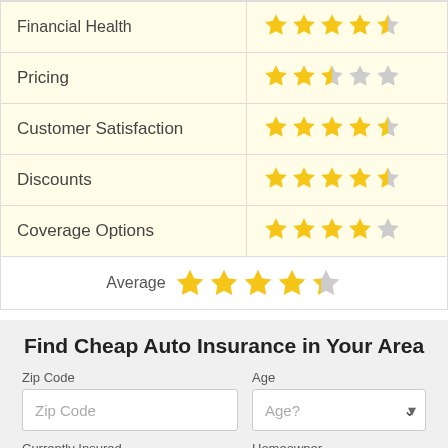| Category | Rating |
| --- | --- |
| Financial Health | 4.5 stars |
| Pricing | 2.5 stars |
| Customer Satisfaction | 4.5 stars |
| Discounts | 4.5 stars |
| Coverage Options | 4 stars |
| Average | 4 stars |
Find Cheap Auto Insurance in Your Area
Zip Code | Age | Currently Insured | Homeowner